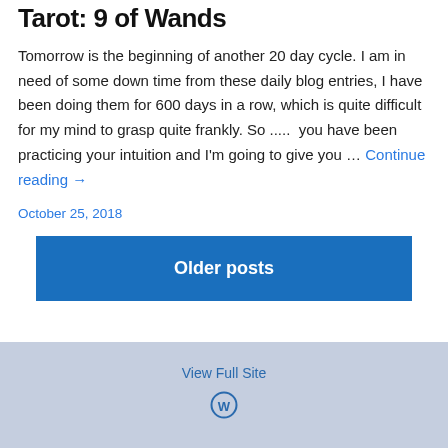Tarot: 9 of Wands
Tomorrow is the beginning of another 20 day cycle. I am in need of some down time from these daily blog entries, I have been doing them for 600 days in a row, which is quite difficult for my mind to grasp quite frankly. So .....  you have been practicing your intuition and I'm going to give you … Continue reading →
October 25, 2018
Older posts
View Full Site